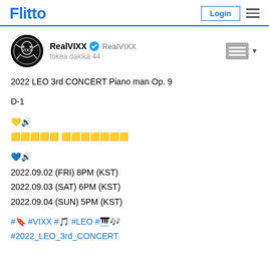Flitto | Login
RealVIXX  RealVIXX
tokea dakika 44
2022 LEO 3rd CONCERT Piano man Op. 9

D-1

💛🔊
🟨🟨🟨🟨🟨 🟨🟨🟨🟨🟨🟨🟨

💙🔊
2022.09.02 (FRI) 8PM (KST)
2022.09.03 (SAT) 6PM (KST)
2022.09.04 (SUN) 5PM (KST)

#🔖 #VIXX #🎵 #LEO #🎹🎶
#2022_LEO_3rd_CONCERT